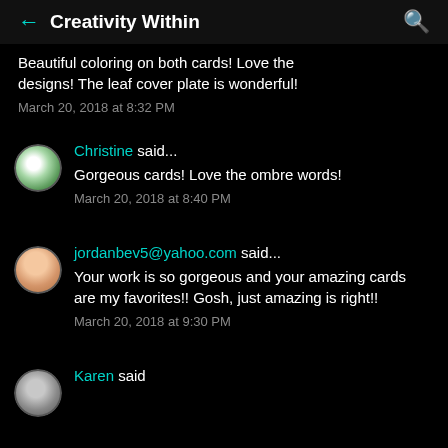← Creativity Within 🔍
Beautiful coloring on both cards! Love the designs! The leaf cover plate is wonderful!
March 20, 2018 at 8:32 PM
Christine said...
Gorgeous cards! Love the ombre words!
March 20, 2018 at 8:40 PM
jordanbev5@yahoo.com said...
Your work is so gorgeous and your amazing cards are my favorites!! Gosh, just amazing is right!!
March 20, 2018 at 9:30 PM
Karen said